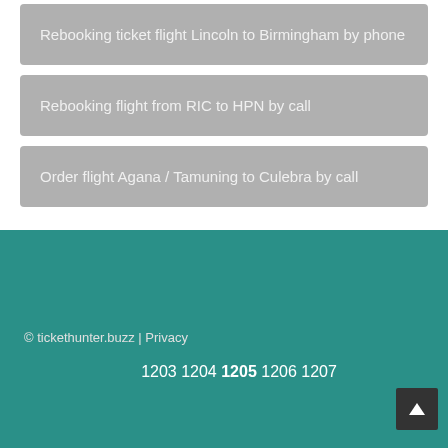Rebooking ticket flight Lincoln to Birmingham by phone
Rebooking flight from RIC to HPN by call
Order flight Agana / Tamuning to Culebra by call
© tickethunter.buzz | Privacy
1203 1204 1205 1206 1207